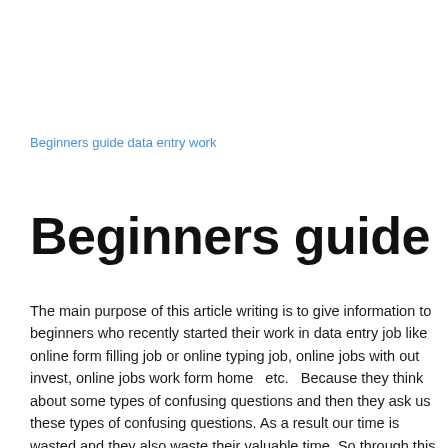Beginners guide data entry work
Beginners guide
The main purpose of this article writing is to give information to beginners who recently started their work in data entry job like online form filling job or online typing job, online jobs with out invest, online jobs work form home  etc.  Because they think about some types of confusing questions and then they ask us these types of confusing questions. As a result our time is wasted and they also waste their valuable time. So through this article we want to make you understand about the function of our software and when this